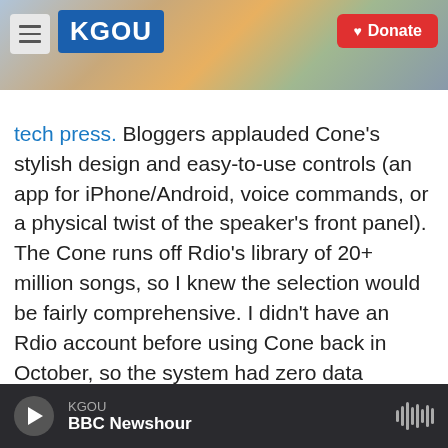[Figure (screenshot): KGOU radio station website header with logo, hamburger menu, city background photo, and red Donate button]
tech press. Bloggers applauded Cone's stylish design and easy-to-use controls (an app for iPhone/Android, voice commands, or a physical twist of the speaker's front panel). The Cone runs off Rdio's library of 20+ million songs, so I knew the selection would be fairly comprehensive. I didn't have an Rdio account before using Cone back in October, so the system had zero data regarding my listening behavior and preferences when I started. But ostensibly, the idea is that over time, more and more user behavior data is fed into the algorithm, thus yielding more accurate results. Over the years,
KGOU  BBC Newshour